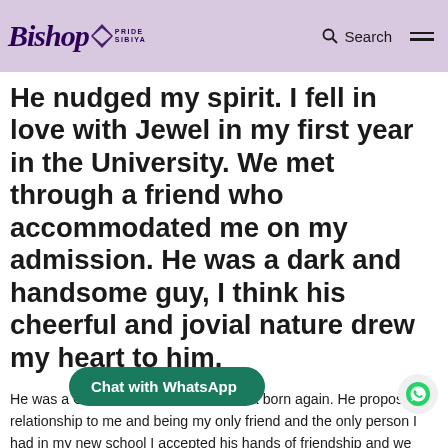Bishop Pride Sibiya | Search
He nudged my spirit. I fell in love with Jewel in my first year in the University. We met through a friend who accommodated me on my admission. He was a dark and handsome guy, I think his cheerful and jovial nature drew my heart to him.
He was a Christian but I don't call him a born again. He proposed relationship to me and being my only friend and the only person I had in my new school I accepted his hands of friendship and we started dating like a year after. Mind you, I didn't pro... relationship was very interesting and full of fun. He was a
Chat with WhatsApp